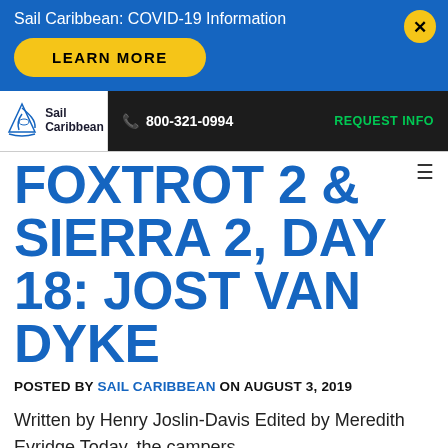Sail Caribbean: COVID-19 Information
[Figure (screenshot): Yellow rounded LEARN MORE button on blue background]
[Figure (logo): Sail Caribbean logo with sailboat graphic]
800-321-0994   REQUEST INFO
FOXTROT 2 & SIERRA 2, DAY 18: JOST VAN DYKE
POSTED BY SAIL CARIBBEAN ON AUGUST 3, 2019
Written by Henry Joslin-Davis Edited by Meredith Evridge Today, the campers...